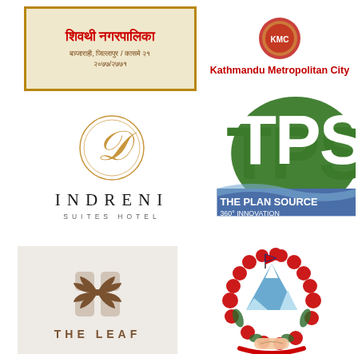[Figure (logo): Nepali language signboard with red and brown text on cream background]
[Figure (logo): Kathmandu Metropolitan City logo with emblem and red text]
[Figure (logo): Indreni Suites Hotel logo with golden circular D monogram]
[Figure (logo): TPS - The Plan Source logo, green letters with 360 Innovation in Engineering tagline]
[Figure (logo): The Leaf logo with brown ornamental square floral motif on grey background]
[Figure (logo): Nepal government emblem with mountains, rhododendron garland, Nepali flag, and handshake]